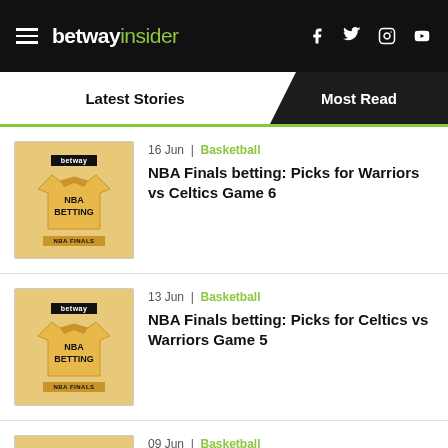betway insider
Latest Stories | Most Read
16 Jun | Basketball
NBA Finals betting: Picks for Warriors vs Celtics Game 6
13 Jun | Basketball
NBA Finals betting: Picks for Celtics vs Warriors Game 5
09 Jun | Basketball
NBA Finals betting: Picks for Warriors vs Celtics Game 4